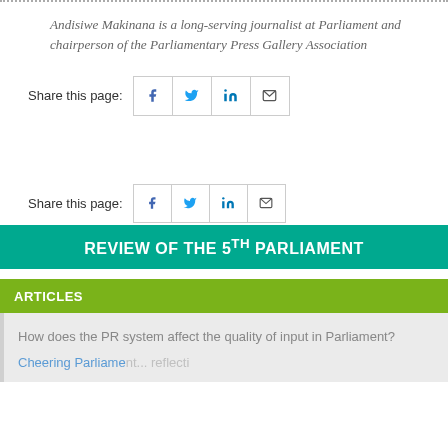Andisiwe Makinana is a long-serving journalist at Parliament and chairperson of the Parliamentary Press Gallery Association
Share this page:
Share this page:
REVIEW OF THE 5th PARLIAMENT
ARTICLES
How does the PR system affect the quality of input in Parliament?